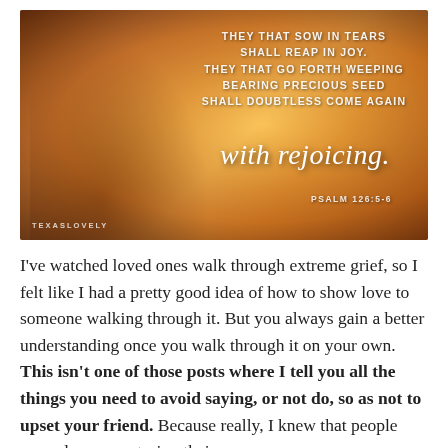[Figure (photo): A warm golden-toned photo of a woman seen from behind, sitting outdoors with bokeh background. Overlaid with Bible verse text: 'THEY THAT SOW IN TEARS SHALL REAP IN JOY. THEY THAT GO FORTH WEEPING BEARING PRECIOUS SEED SHALL DOUBTLESS COME AGAIN with rejoicing. PSALM 126:5-6'. Watermark 'TEXASLOVELY' in lower left.]
I've watched loved ones walk through extreme grief, so I felt like I had a pretty good idea of how to show love to someone walking through it. But you always gain a better understanding once you walk through it on your own. This isn't one of those posts where I tell you all the things you need to avoid saying, or not do, so as not to upset your friend. Because really, I knew that people around me were trying their